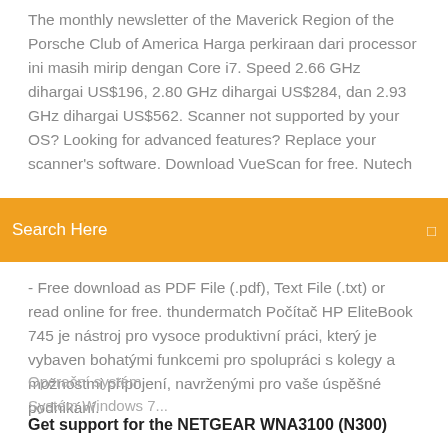The monthly newsletter of the Maverick Region of the Porsche Club of America Harga perkiraan dari processor ini masih mirip dengan Core i7. Speed 2.66 GHz dihargai US$196, 2.80 GHz dihargai US$284, dan 2.93 GHz dihargai US$562. Scanner not supported by your OS? Looking for advanced features? Replace your scanner's software. Download VueScan for free. Nutech
Search Here
- Free download as PDF File (.pdf), Text File (.txt) or read online for free. thundermatch Počítač HP EliteBook 745 je nástroj pro vysoce produktivní práci, který je vybaven bohatými funkcemi pro spolupráci s kolegy a možnostmi připojení, navrženými pro vaše úspěšné podnikání.
Operační systém
Systém Windows 7...
Get support for the NETGEAR WNA3100 (N300)